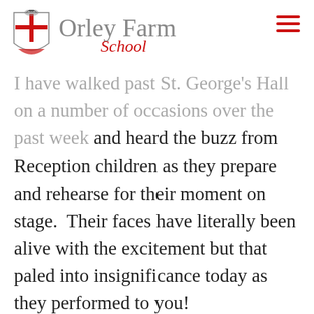Orley Farm School
I have walked past St. George's Hall on a number of occasions over the past week and heard the buzz from Reception children as they prepare and rehearse for their moment on stage.  Their faces have literally been alive with the excitement but that paled into insignificance today as they performed to you!
Who would have thought that 60 children could come together 12 weeks ago from 40